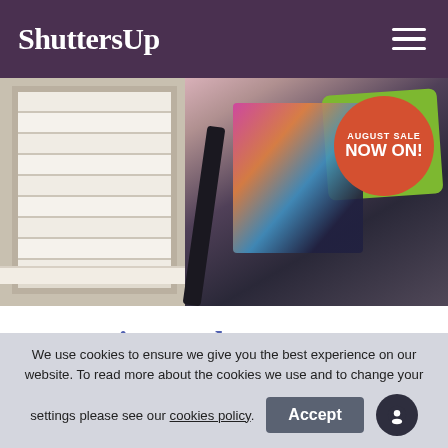ShuttersUp
[Figure (photo): Interior photo of a window with white plantation shutters on the left, and a chair with colorful cushions (green, pink/multicolor) on the right. A red circular badge reads 'AUGUST SALE NOW ON!']
Get in touch to arrange your quote
We use cookies to ensure we give you the best experience on our website. To read more about the cookies we use and to change your settings please see our cookies policy.